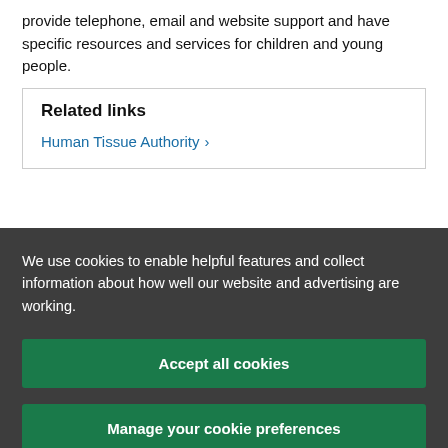provide telephone, email and website support and have specific resources and services for children and young people.
Related links
Human Tissue Authority ›
We use cookies to enable helpful features and collect information about how well our website and advertising are working.
Accept all cookies
Manage your cookie preferences